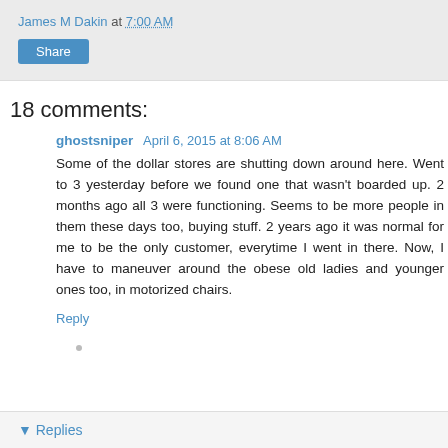James M Dakin at 7:00 AM
Share
18 comments:
ghostsniper  April 6, 2015 at 8:06 AM
Some of the dollar stores are shutting down around here. Went to 3 yesterday before we found one that wasn't boarded up. 2 months ago all 3 were functioning. Seems to be more people in them these days too, buying stuff. 2 years ago it was normal for me to be the only customer, everytime I went in there. Now, I have to maneuver around the obese old ladies and younger ones too, in motorized chairs.
Reply
Replies